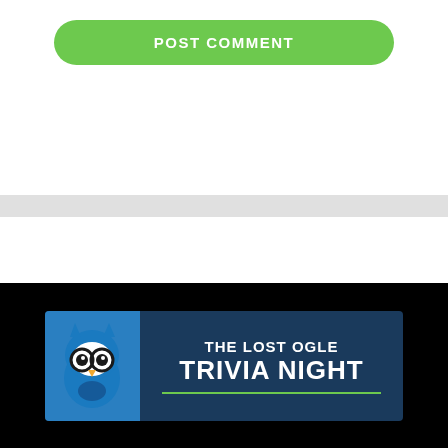[Figure (screenshot): POST COMMENT green rounded button on white background]
[Figure (screenshot): Search bar with text 'Search ...' and green GO button]
[Figure (screenshot): The Lost Ogle Trivia Night banner ad with owl logo on dark blue background, black footer area with close button]